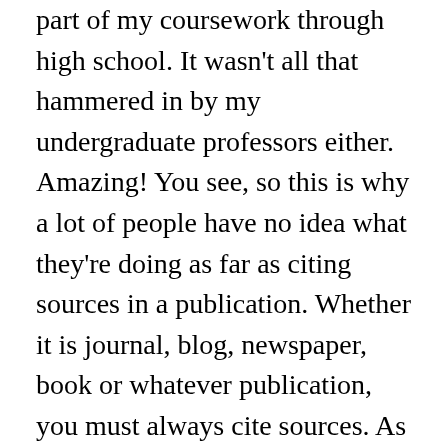part of my coursework through high school. It wasn't all that hammered in by my undergraduate professors either. Amazing! You see, so this is why a lot of people have no idea what they're doing as far as citing sources in a publication. Whether it is journal, blog, newspaper, book or whatever publication, you must always cite sources. As an author, I took it upon myself to pay attention to the warnings that I had received. They served me well, but I can see how the lack of emphasis upon citations has affected many in their careers and education goals. Several times a year students all across the country are brought up on plagiarism charges. Most are copying work from other